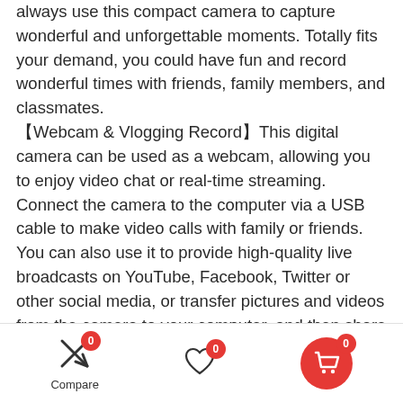always use this compact camera to capture wonderful and unforgettable moments. Totally fits your demand, you could have fun and record wonderful times with friends, family members, and classmates.
【Webcam & Vlogging Record】This digital camera can be used as a webcam, allowing you to enjoy video chat or real-time streaming. Connect the camera to the computer via a USB cable to make video calls with family or friends. You can also use it to provide high-quality live broadcasts on YouTube, Facebook, Twitter or other social media, or transfer pictures and videos from the camera to your computer, and then share your beautiful
Compare | 0 | 0 | 0